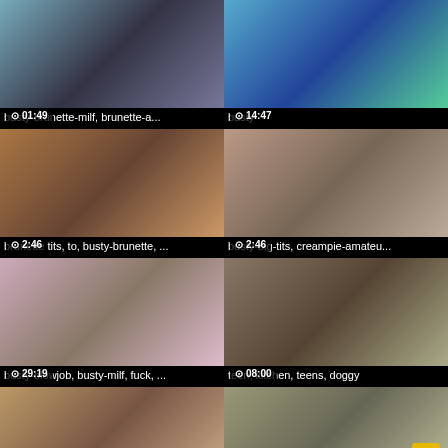[Figure (screenshot): Video thumbnail with duration 01:49]
busty-brunette-milf, brunette-a...
[Figure (screenshot): Video thumbnail with duration 14:47]
busty
[Figure (screenshot): Video thumbnail with duration 2:46]
brunette tits, to, busty-brunette, ...
[Figure (screenshot): Video thumbnail with duration 2:46]
busty-big-tits, creampie-amateu...
[Figure (screenshot): Video thumbnail with duration 29:19]
busty-blowjob, busty-milf, fuck, ...
[Figure (screenshot): Video thumbnail with duration 08:00]
teen, kitchen, teens, doggy
[Figure (screenshot): Video thumbnail bottom left, partial]
[Figure (screenshot): Video thumbnail bottom right, partial]